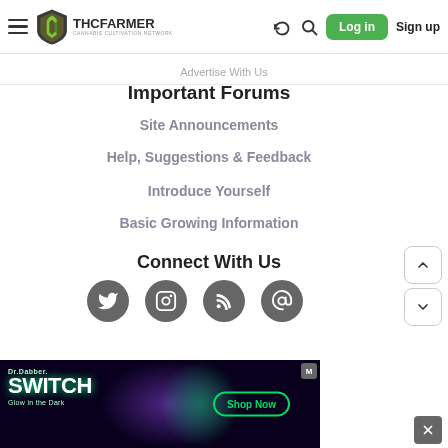THCFarmer - Cannabis Cultivation Network | Log in | Sign up
Advertise With Us
Important Forums
Site Announcements
Help, Suggestions & Feedback
Introduce Yourself
Basic Growing Information
Connect With Us
[Figure (infographic): Social media icons: Twitter, Instagram, RSS, Email]
[Figure (photo): Dr. Dabber SWITCH advertisement — Glow in the Dark, Shop Now button]